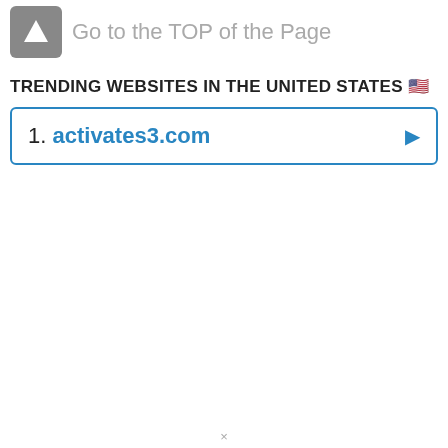Go to the TOP of the Page
TRENDING WEBSITES IN THE UNITED STATES 🇺🇸
1. activates3.com
×